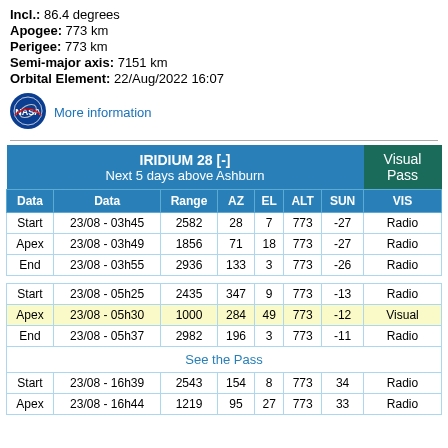Incl.: 86.4 degrees
Apogee: 773 km
Perigee: 773 km
Semi-major axis: 7151 km
Orbital Element: 22/Aug/2022 16:07
[Figure (logo): NASA logo circle]
More information
| Data | Data | Range | AZ | EL | ALT | SUN | VIS |
| --- | --- | --- | --- | --- | --- | --- | --- |
| Start | 23/08 - 03h45 | 2582 | 28 | 7 | 773 | -27 | Radio |
| Apex | 23/08 - 03h49 | 1856 | 71 | 18 | 773 | -27 | Radio |
| End | 23/08 - 03h55 | 2936 | 133 | 3 | 773 | -26 | Radio |
| Start | 23/08 - 05h25 | 2435 | 347 | 9 | 773 | -13 | Radio |
| Apex | 23/08 - 05h30 | 1000 | 284 | 49 | 773 | -12 | Visual |
| End | 23/08 - 05h37 | 2982 | 196 | 3 | 773 | -11 | Radio |
| See the Pass |  |  |  |  |  |  |  |
| Start | 23/08 - 16h39 | 2543 | 154 | 8 | 773 | 34 | Radio |
| Apex | 23/08 - 16h44 | 1219 | 95 | 27 | 773 | 33 | Radio |